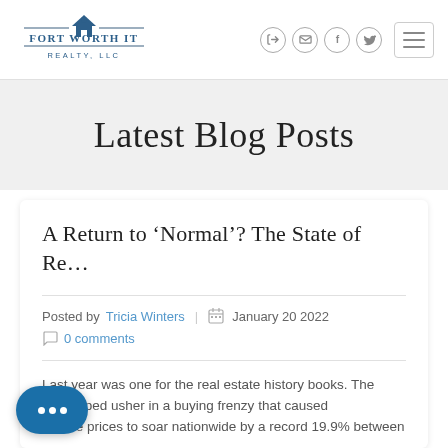[Figure (logo): Fort Worth It Realty LLC logo with house icon and horizontal lines]
Navigation icons: login, email, Facebook, Twitter, hamburger menu
Latest Blog Posts
A Return to ‘Normal’? The State of Re…
Posted by Tricia Winters | January 20 2022
0 comments
Last year was one for the real estate history books. The pandemic helped usher in a buying frenzy that caused home prices to soar nationwide by a record 19.9% between